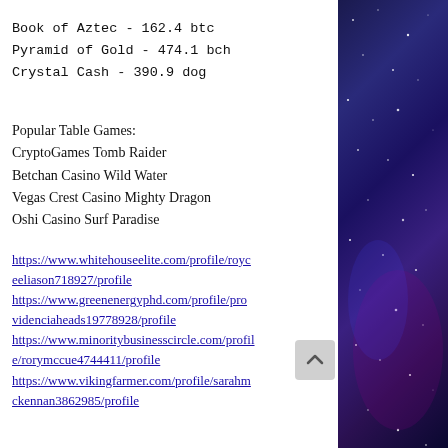Book of Aztec - 162.4 btc
Pyramid of Gold - 474.1 bch
Crystal Cash - 390.9 dog
Popular Table Games:
CryptoGames Tomb Raider
Betchan Casino Wild Water
Vegas Crest Casino Mighty Dragon
Oshi Casino Surf Paradise
https://www.whitehouseelite.com/profile/royceeliason718927/profile
https://www.greenenergyphd.com/profile/providenciaheads19778928/profile
https://www.minoritybusinesscircle.com/profile/rorymccue4744411/profile
https://www.vikingfarmer.com/profile/sarahmckennan3862985/profile